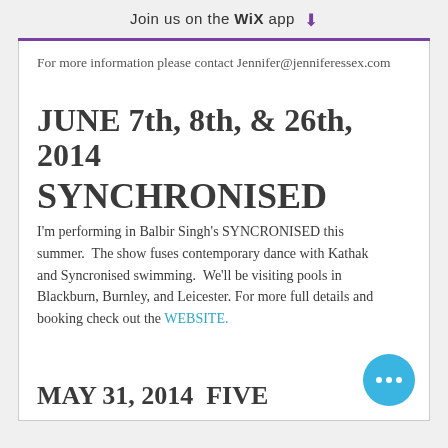Join us on the WiX app
For more information please contact Jennifer@jenniferessex.com
JUNE 7th, 8th, & 26th, 2014
SYNCHRONISED
I'm performing in Balbir Singh's SYNCRONISED this summer.  The show fuses contemporary dance with Kathak and Syncronised swimming.  We'll be visiting pools in Blackburn, Burnley, and Leicester. For more full details and booking check out the WEBSITE.
MAY 31, 2014 FIVE